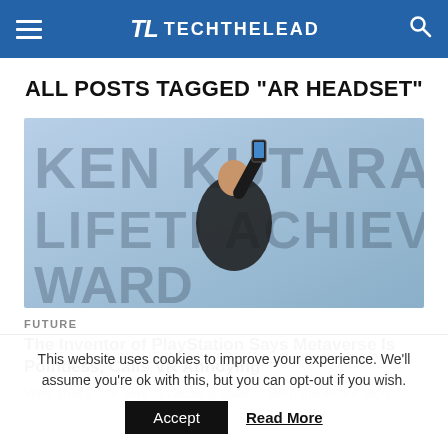TL TECHTHELEAD
ALL POSTS TAGGED "AR HEADSET"
[Figure (photo): A man in a suit raises a smartphone above his head in front of a backdrop reading 'KEN KUTARAGI LIFETIME ACHIEVEMENT AWARD']
FUTURE
The Inventor of PlayStation Says Metaverse Is Pointless, Calls VR Annoying
Well, that's one way to cause a splash! With the entire tech
This website uses cookies to improve your experience. We'll assume you're ok with this, but you can opt-out if you wish.
Accept   Read More